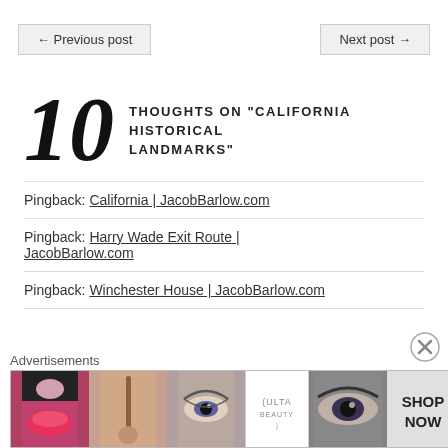← Previous post
Next post →
10 THOUGHTS ON "CALIFORNIA HISTORICAL LANDMARKS"
Pingback: California | JacobBarlow.com
Pingback: Harry Wade Exit Route | JacobBarlow.com
Pingback: Winchester House | JacobBarlow.com
Advertisements
[Figure (photo): Ulta beauty advertisement banner with makeup photos and SHOP NOW text]